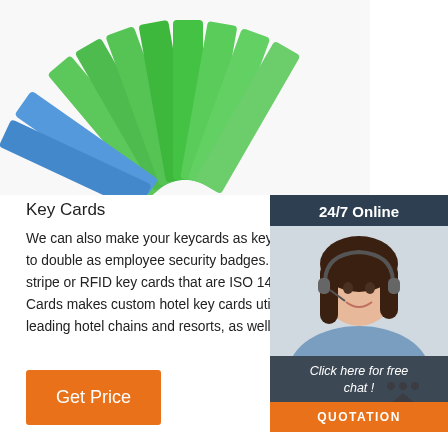[Figure (photo): Green plastic key cards/tags fanned out, with blue tags visible at top, on white background]
[Figure (photo): Customer service agent sidebar: dark panel with '24/7 Online' header, photo of smiling woman with headset, 'Click here for free chat!' text, and orange QUOTATION button]
Key Cards
We can also make your keycards as key tags, or ev to double as employee security badges. Choose fro stripe or RFID key cards that are ISO 14333A comp Cards makes custom hotel key cards utilizing magn leading hotel chains and resorts, as well as high qu
[Figure (other): Orange 'Get Price' button]
[Figure (other): Orange 'TOP' back-to-top button with triangle arrow and dots]